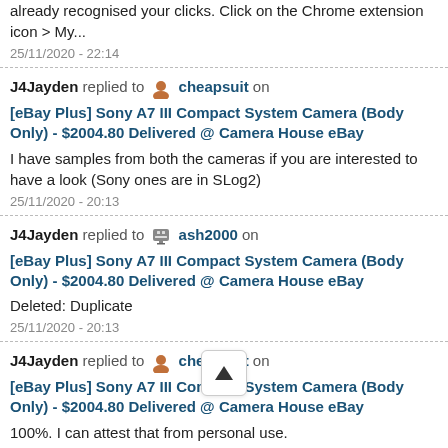already recognised your clicks. Click on the Chrome extension icon > My...
25/11/2020 - 22:14
J4Jayden replied to cheapsuit on [eBay Plus] Sony A7 III Compact System Camera (Body Only) - $2004.80 Delivered @ Camera House eBay
I have samples from both the cameras if you are interested to have a look (Sony ones are in SLog2)
25/11/2020 - 20:13
J4Jayden replied to ash2000 on [eBay Plus] Sony A7 III Compact System Camera (Body Only) - $2004.80 Delivered @ Camera House eBay
Deleted: Duplicate
25/11/2020 - 20:13
J4Jayden replied to cheapsuit on [eBay Plus] Sony A7 III Compact System Camera (Body Only) - $2004.80 Delivered @ Camera House eBay
100%. I can attest that from personal use.
25/11/2020 - 20:13
J4Jayden replied to nonorange630 on [eBay Plus] Sony A7